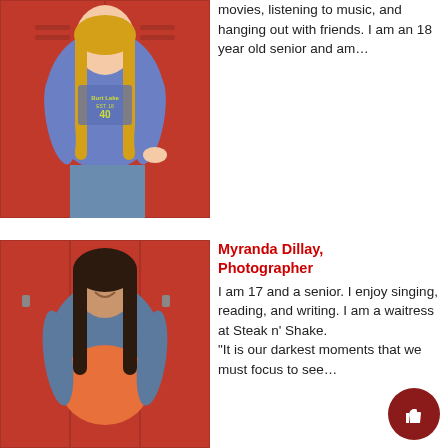[Figure (photo): Teen girl in blue Burt Lake sweatshirt standing against red lockers with long blonde hair]
movies, listening to music, and hanging out with friends. I am an 18 year old senior and am…
[Figure (photo): Teen girl with dark hair in denim jacket and orange top standing against red lockers, smiling]
Myranda Dillay, Photographer
I am 17 and a senior. I enjoy singing, reading, and writing. I am a waitress at Steak n' Shake.
"It is our darkest moments that we must focus to see…